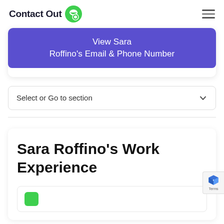ContactOut
View Sara Roffino's Email & Phone Number
Select or Go to section
Sara Roffino's Work Experience